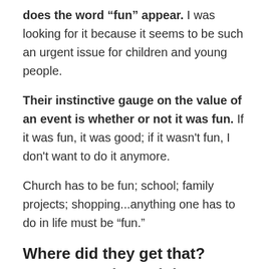does the word “fun” appear. I was looking for it because it seems to be such an urgent issue for children and young people.
Their instinctive gauge on the value of an event is whether or not it was fun. If it was fun, it was good; if it wasn't fun, I don't want to do it anymore.
Church has to be fun; school; family projects; shopping...anything one has to do in life must be “fun.”
Where did they get that? From you. That’s right.